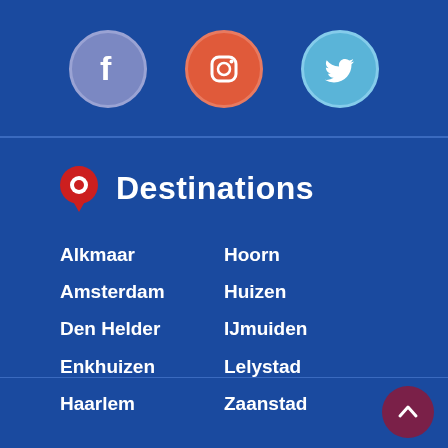[Figure (logo): Three social media icons: Facebook (blue-grey circle with white F), Instagram (orange-red circle with white camera icon), Twitter (light blue circle with white bird icon)]
Destinations
Alkmaar
Amsterdam
Den Helder
Enkhuizen
Haarlem
Hoorn
Huizen
IJmuiden
Lelystad
Zaanstad